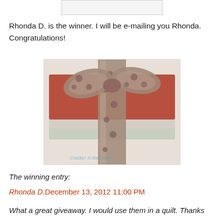[Figure (other): Partial view of a random number picker or form widget at the top of the page, cropped]
Rhonda D. is the winner.  I will be e-mailing you Rhonda. Congratulations!
[Figure (photo): Stack of fabric pieces tied with a brown polka-dot satin ribbon bow, in red/rust and green/cream batik prints]
The winning entry:
Rhonda D.December 13, 2012 11:00 PM
What a great giveaway. I would use them in a quilt. Thanks